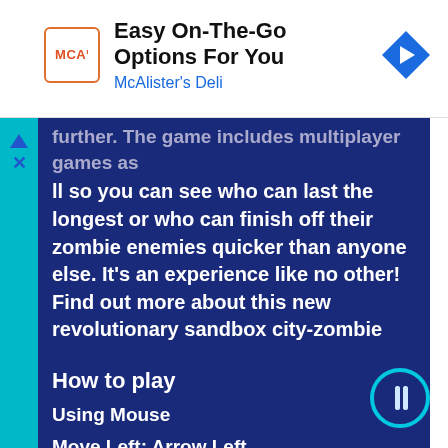[Figure (screenshot): Advertisement banner for McAlister's Deli with logo, title 'Easy On-The-Go Options For You', and navigation icon]
further. The game includes multiplayer games as well so you can see who can last the longest or who can finish off their zombie enemies quicker than anyone else. It's an experience like no other! Find out more about this new revolutionary sandbox city-zombie
How to play
Using Mouse
Move Left: Arrow Left
Move Right: Arrow Right
Move Forward: Arrow Up
Move Back: Arrow Down